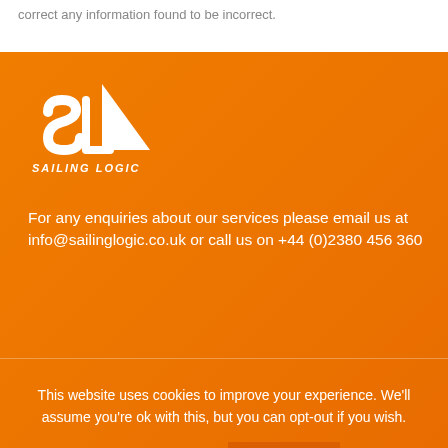correct any information found to be incorrect.
[Figure (logo): Sailing Logic logo — white SL sailing symbol with 'SAILING LOGIC' text below on orange background]
For any enquiries about our services please email us at info@sailinglogic.co.uk or call us on +44 (0)2380 456 360
This website uses cookies to improve your experience. We'll assume you're ok with this, but you can opt-out if you wish.
Cookie settings
ACCEPT